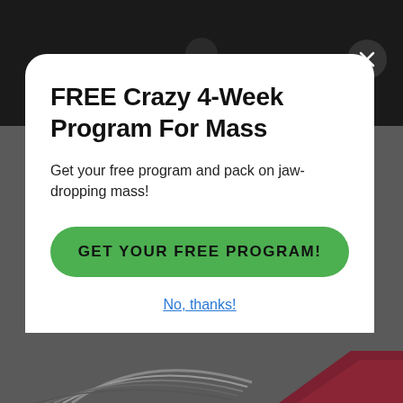[Figure (screenshot): Dark background with fitness/bodybuilder silhouette image at top]
FREE Crazy 4-Week Program For Mass
Get your free program and pack on jaw-dropping mass!
GET YOUR FREE PROGRAM!
No, thanks!